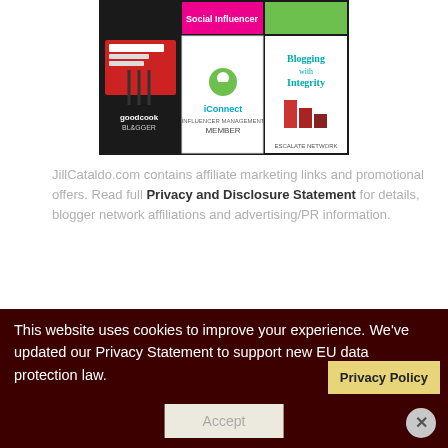[Figure (screenshot): Grid of blogger network badges: goodcook blogger, Social Influencer (pink), green badge, iConnect Member, Blogging with Integrity / Escalate Network logos]
JillCataldo.com contains affiliate marketing links and promotional offers. Read full Privacy and Disclosure Statement for details, blogger network affiliations and advertising/PR information.
My Tweets
This website uses cookies to improve your experience. We've updated our Privacy Statement to support new EU data protection law.
Privacy Policy
Accept